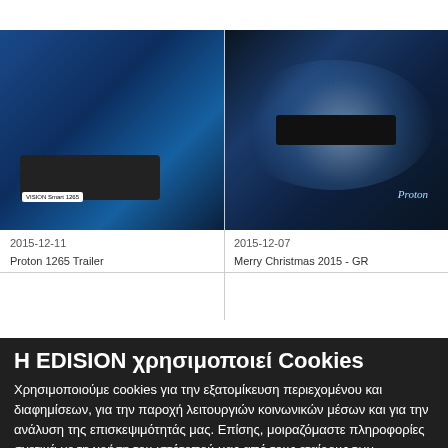[Figure (screenshot): Left video thumbnail: blue-toned image of EDISION device/set-top box]
[Figure (screenshot): Right video thumbnail: dark blue splash/explosion effect with device, text 'Proton Trailer']
2015-12-11
2015-12-07
Proton 1265 Trailer
Merry Christmas 2015 - GR
Η EDISION χρησιμοποιεί Cookies
Χρησιμοποιούμε cookies για την εξατομίκευση περιεχομένου και διαφημίσεων, για την παροχή λειτουργιών κοινωνικών μέσων και για την ανάλυση της επισκεψιμότητάς μας. Επίσης, μοιραζόμαστε πληροφορίες σχετικά με τη χρήση του ιστότοπού μας από τους εταίρους των κοινωνικών μέσων ενημέρωσης, των διαφημίσεων και των αναλυτικών στοιχείων που μπορούν να τα συνδυάσουν με άλλες πληροφορίες που τους έχετε παράσχει ή που έχουν συλλέξει από τη χρήση των υπηρεσιών τους. Συμφωνείτε με τα cookies μας εάν συνεχίσετε να χρησιμοποιείτε τον ιστότοπό μας.
✓ Απαραίτητο
✓ Στατιστικά
✓ Marketing
Περισσότερα
OK
Merry Christmas 2015 - DE
Proton Trailer
[Figure (screenshot): Bottom left: dark blue image of EDISION receivers/devices]
[Figure (screenshot): Bottom right: dark image with EDISION logo and device]